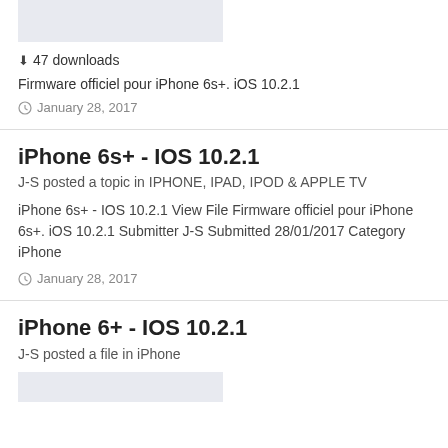[Figure (photo): Partial image of iPhone device (top cropped)]
⬇ 47 downloads
Firmware officiel pour iPhone 6s+. iOS 10.2.1
January 28, 2017
iPhone 6s+ - IOS 10.2.1
J-S posted a topic in IPHONE, IPAD, IPOD & APPLE TV
iPhone 6s+ - IOS 10.2.1 View File Firmware officiel pour iPhone 6s+. iOS 10.2.1 Submitter J-S Submitted 28/01/2017 Category iPhone
January 28, 2017
iPhone 6+ - IOS 10.2.1
J-S posted a file in iPhone
[Figure (photo): Partial image of iPhone device (bottom cropped)]